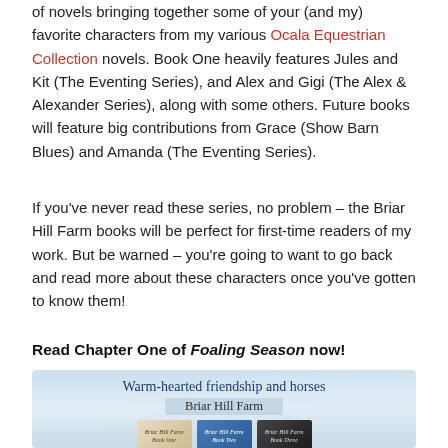of novels bringing together some of your (and my) favorite characters from my various Ocala Equestrian Collection novels. Book One heavily features Jules and Kit (The Eventing Series), and Alex and Gigi (The Alex & Alexander Series), along with some others. Future books will feature big contributions from Grace (Show Barn Blues) and Amanda (The Eventing Series).
If you've never read these series, no problem – the Briar Hill Farm books will be perfect for first-time readers of my work. But be warned – you're going to want to go back and read more about these characters once you've gotten to know them!
Read Chapter One of Foaling Season now!
[Figure (illustration): Banner image with soft floral background showing 'Warm-hearted friendship and horses / Briar Hill Farm' text and three book covers for the Briar Hill Farm series.]